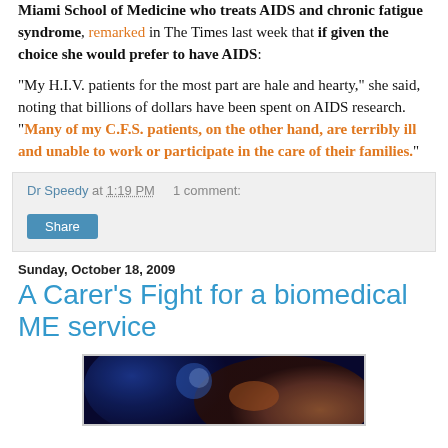Miami School of Medicine who treats AIDS and chronic fatigue syndrome, remarked in The Times last week that if given the choice she would prefer to have AIDS:
“My H.I.V. patients for the most part are hale and hearty,” she said, noting that billions of dollars have been spent on AIDS research. “Many of my C.F.S. patients, on the other hand, are terribly ill and unable to work or participate in the care of their families.”
Dr Speedy at 1:19 PM   1 comment:
Share
Sunday, October 18, 2009
A Carer’s Fight for a biomedical ME service
[Figure (photo): A colorful photo with blue and orange tones, appears to show a night scene or artistic image]